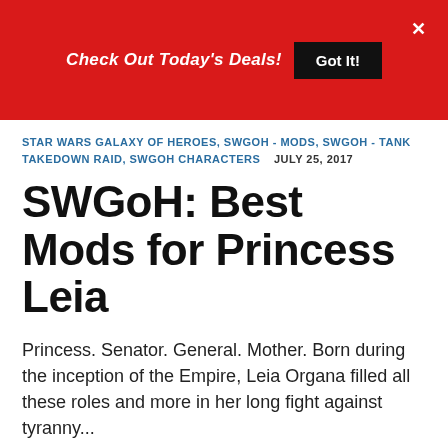Check Out Today's Deals! Got It!
STAR WARS GALAXY OF HEROES, SWGOH - MODS, SWGOH - TANK TAKEDOWN RAID, SWGOH CHARACTERS   JULY 25, 2017
SWGoH: Best Mods for Princess Leia
Princess. Senator. General. Mother. Born during the inception of the Empire, Leia Organa filled all these roles and more in her long fight against tyranny...
READ MORE